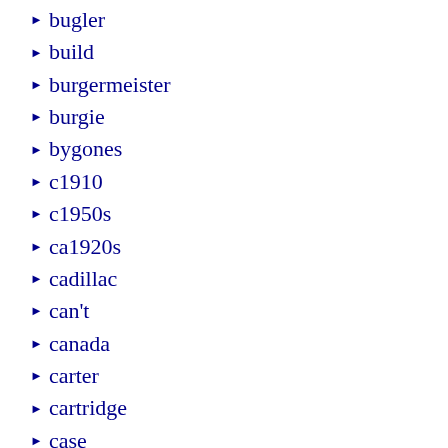bugler
build
burgermeister
burgie
bygones
c1910
c1950s
ca1920s
cadillac
can't
canada
carter
cartridge
case
cast
castrol
caterpillar
caterpillar-john
cave
century
champion
channel
charlotte